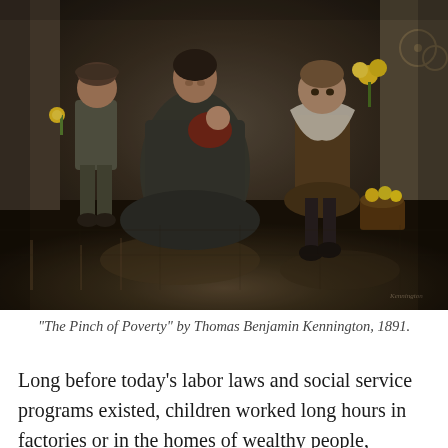[Figure (photo): A painting titled 'The Pinch of Poverty' by Thomas Benjamin Kennington, 1891. It depicts a mother seated on a wet street with three children, two of whom are holding yellow flowers (daffodils). The children wear worn, dark Victorian-era clothing. The setting is a rainy street with reflections on the ground.]
"The Pinch of Poverty" by Thomas Benjamin Kennington, 1891.
Long before today's labor laws and social service programs existed, children worked long hours in factories or in the homes of wealthy people, usually for